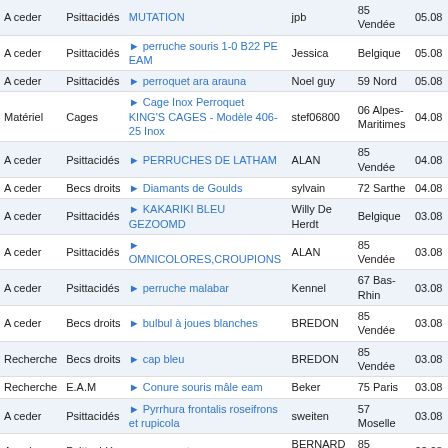| Type | Catégorie | Annonce | Utilisateur | Région | Date |
| --- | --- | --- | --- | --- | --- |
| A ceder | Psittacidés | MUTATION | jpb | 85 Vendée | 05.08 |
| A ceder | Psittacidés | perruche souris 1-0 B22 PE EAM | Jessica | Belgique | 05.08 |
| A ceder | Psittacidés | perroquet ara arauna | Noel guy | 59 Nord | 05.08 |
| Matériel | Cages | Cage Inox Perroquet KING'S CAGES - Modèle 406-25 Inox | stef06800 | 06 Alpes-Maritimes | 04.08 |
| A ceder | Psittacidés | PERRUCHES DE LATHAM | ALAN | 85 Vendée | 04.08 |
| A ceder | Becs droits | Diamants de Goulds | sylvain | 72 Sarthe | 04.08 |
| A ceder | Psittacidés | KAKARIKI BLEU GEZOOMD | Willy De Herdt | Belgique | 03.08 |
| A ceder | Psittacidés | OMNICOLORES,CROUPIONS | ALAN | 85 Vendée | 03.08 |
| A ceder | Psittacidés | perruche malabar | Kennel | 67 Bas-Rhin | 03.08 |
| A ceder | Becs droits | bulbul à joues blanches | BREDON | 85 Vendée | 03.08 |
| Recherche | Becs droits | cap bleu | BREDON | 85 Vendée | 03.08 |
| Recherche | E.A.M | Conure souris mâle eam | Beker | 75 Paris | 03.08 |
| A ceder | Psittacidés | Pyrrhura frontalis roseifrons et rupicola | sweiten | 57 Moselle | 03.08 |
| A ceder | Psittacidés | perroquet meyer | BERNARD Joël | 85 Vendée | 03.08 |
| A ceder | Psittacidés | royale d'australie | garreau | 61 Orne | 02.08 |
| A ceder | Psittacidés | perruche Grand Alexandre | AL ALI | 49 Maine-et-Loire | 02.08 |
| A ceder | Psittacidés | 1-1 youyou de Sénégal NC | AL ALI | 49 Maine-et-Loire | 02.08 |
| A ceder | Psittacidés | perruche à collier, cleartail Bleues TQB, mauve, bleues | MERAT Didier | 10 Aube | 02.08 |
| A ceder | Psittacidés | AMAZONE A LORES JAUNES 0/1 B21 PE EPP | PIJO | 38 Isère | 02.08 |
| A ceder | Psittacidés | Conures de molina cinamon, opaline et opaline cinamon | MERAT Didier | 10 Aube | 02.08 |
| A ceder | Psittacidés | Omnicolores opalines | MERAT Didier | 10 Aube | 02.08 |